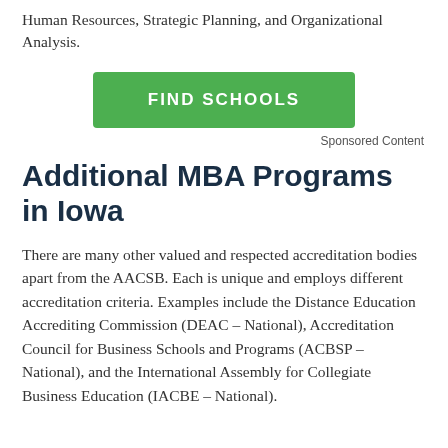Human Resources, Strategic Planning, and Organizational Analysis.
[Figure (other): Green 'FIND SCHOOLS' call-to-action button]
Sponsored Content
Additional MBA Programs in Iowa
There are many other valued and respected accreditation bodies apart from the AACSB. Each is unique and employs different accreditation criteria. Examples include the Distance Education Accrediting Commission (DEAC – National), Accreditation Council for Business Schools and Programs (ACBSP – National), and the International Assembly for Collegiate Business Education (IACBE – National).